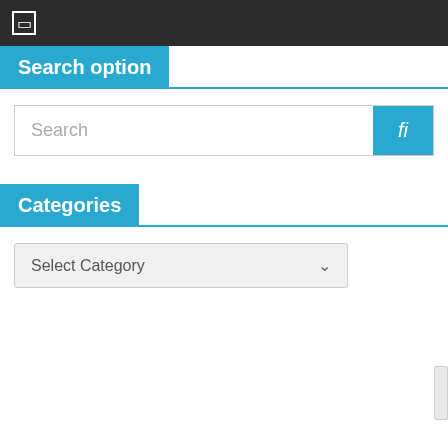☐
Search option
Search
Categories
Select Category